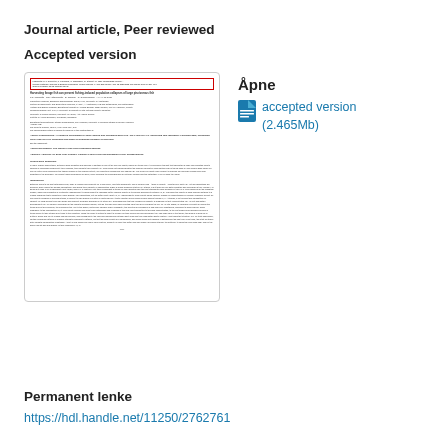Journal article, Peer reviewed
Accepted version
[Figure (screenshot): Thumbnail preview of an academic journal article page showing title, authors, abstract and introduction sections with a red border around the header information.]
Åpne
accepted version (2.465Mb)
Permanent lenke
https://hdl.handle.net/11250/2762761